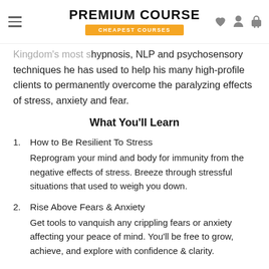PREMIUM COURSE | CHEAPEST COURSES
Kingdom's most s… hypnosis, NLP and psychosensory techniques he has used to help his many high-profile clients to permanently overcome the paralyzing effects of stress, anxiety and fear.
What You'll Learn
1. How to Be Resilient To Stress — Reprogram your mind and body for immunity from the negative effects of stress. Breeze through stressful situations that used to weigh you down.
2. Rise Above Fears & Anxiety — Get tools to vanquish any crippling fears or anxiety affecting your peace of mind. You'll be free to grow, achieve, and explore with confidence & clarity.